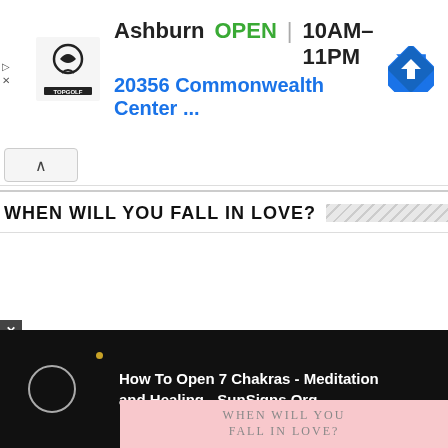[Figure (screenshot): Topgolf advertisement banner showing Ashburn location OPEN 10AM-11PM with address 20356 Commonwealth Center ..., featuring Topgolf logo and blue direction arrow icon]
[Figure (screenshot): Collapse/hide ad button with upward chevron arrow]
WHEN WILL YOU FALL IN LOVE?
-ADVERTISEMENT-
[Figure (screenshot): Video player overlay on dark background showing a circle play icon, gold dot, and text: How To Open 7 Chakras - Meditation and Healing - SunSigns.Org]
[Figure (screenshot): Partially visible pink article image with text WHEN WILL YOU FALL IN LOVE? and decorative hearts]